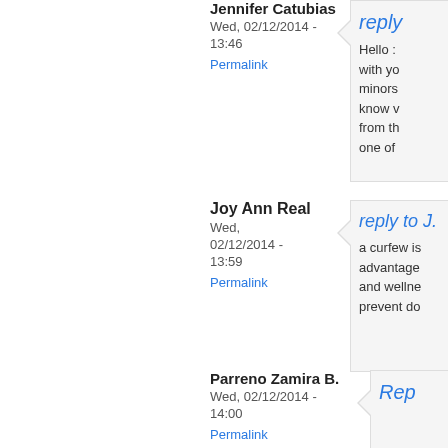Jennifer Catubias
Wed, 02/12/2014 - 13:46
Permalink
reply
Hello :
with yo
minors
know v
from th
one of
Joy Ann Real
Wed, 02/12/2014 - 13:59
Permalink
reply to J
a curfew is
advantage
and wellne
prevent do
Parreno Zamira B.
Wed, 02/12/2014 - 14:00
Permalink
Rep